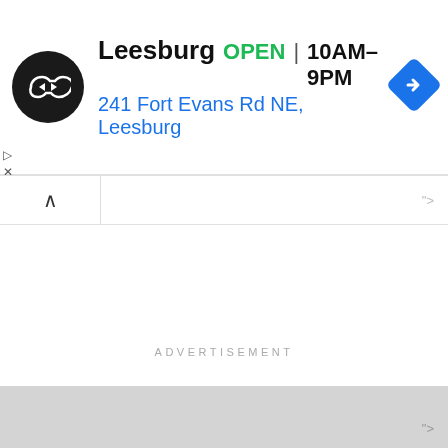[Figure (infographic): Ad banner for a store in Leesburg showing logo, OPEN status, hours 10AM-9PM, address 241 Fort Evans Rd NE Leesburg, and a blue navigation diamond icon]
ADVERTISEMENT
Home › Political News
Yoruba Monarchs In Benin Republic Move To Help Sunday Igboho